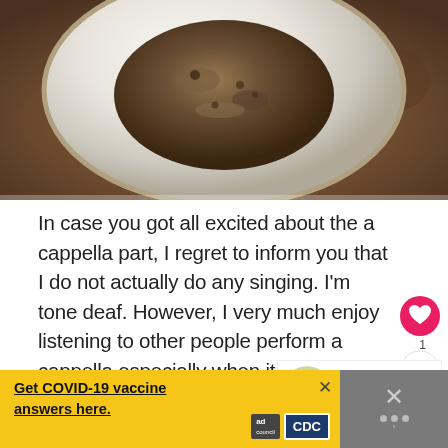[Figure (photo): Partial view of a ceramic plate with food, shot from above against a rustic brown textured background. The plate is white/speckled with a rounded shape, visible at the top of the image.]
In case you got all excited about the a cappella part, I regret to inform you that I do not actually do any singing. I'm tone deaf. However, I very much enjoy listening to other people perform a cappella especially when it involves festive mash-ups of Top 40 hits à la Pitch Perfect. Who doesn't?
[Figure (photo): Thumbnail image of Lemon-Dijon Chicken Salad dish, shown in a 'What's Next' recommendation widget with teal arrow and title text.]
Get COVID-19 vaccine answers here.